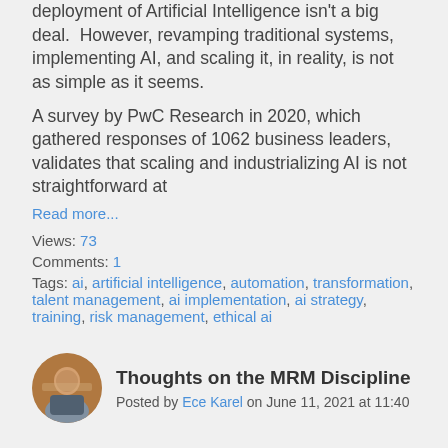deployment of Artificial Intelligence isn't a big deal.  However, revamping traditional systems, implementing AI, and scaling it, in reality, is not as simple as it seems.
A survey by PwC Research in 2020, which gathered responses of 1062 business leaders, validates that scaling and industrializing AI is not straightforward at
Read more...
Views: 73
Comments: 1
Tags: ai, artificial intelligence, automation, transformation, talent management, ai implementation, ai strategy, training, risk management, ethical ai
Thoughts on the MRM Discipline
Posted by Ece Karel on June 11, 2021 at 11:40